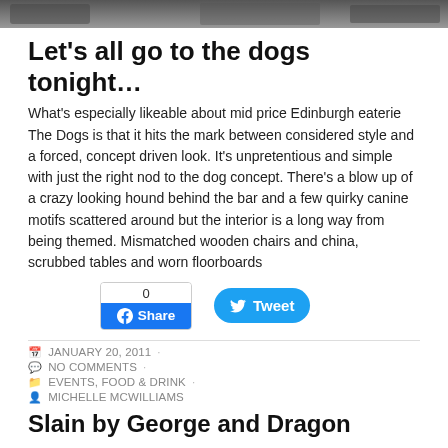[Figure (photo): Partial top edge of a photograph, dark tones, restaurant/bar interior]
Let's all go to the dogs tonight…
What's especially likeable about mid price Edinburgh eaterie The Dogs is that it hits the mark between considered style and a forced, concept driven look. It's unpretentious and simple with just the right nod to the dog concept. There's a blow up of a crazy looking hound behind the bar and a few quirky canine motifs scattered around but the interior is a long way from being themed. Mismatched wooden chairs and china, scrubbed tables and worn floorboards
[Figure (screenshot): Facebook Share button with count 0 and Twitter Tweet button]
JANUARY 20, 2011 ·
NO COMMENTS ·
EVENTS, FOOD & DRINK ·
MICHELLE MCWILLIAMS
Slain by George and Dragon